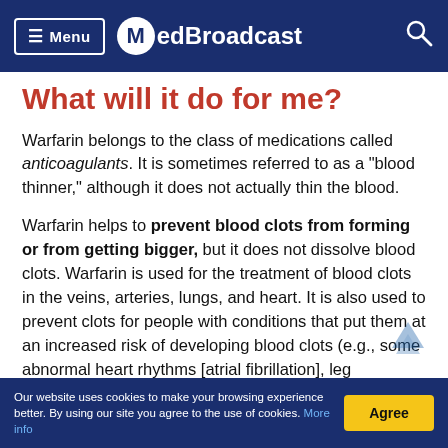Menu | MedBroadcast
What will it do for me?
Warfarin belongs to the class of medications called anticoagulants. It is sometimes referred to as a "blood thinner," although it does not actually thin the blood.
Warfarin helps to prevent blood clots from forming or from getting bigger, but it does not dissolve blood clots. Warfarin is used for the treatment of blood clots in the veins, arteries, lungs, and heart. It is also used to prevent clots for people with conditions that put them at an increased risk of developing blood clots (e.g., some abnormal heart rhythms [atrial fibrillation], leg circulation problems, heart attack or congestive heart
Our website uses cookies to make your browsing experience better. By using our site you agree to the use of cookies. More info | Agree